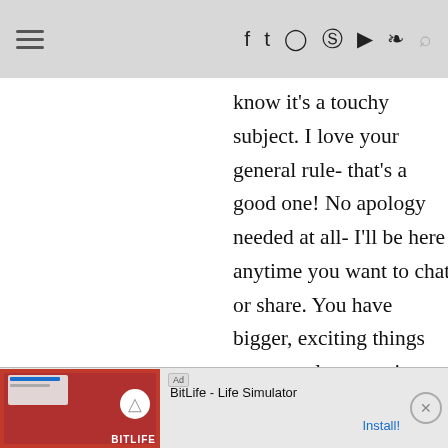≡ f t © ℗ ▶ ☍ 🔍
know it's a touchy subject. I love your general rule- that's a good one! No apology needed at all- I'll be here anytime you want to chat or share. You have bigger, exciting things on your plate to enjoy right now! Although I do
[Figure (screenshot): Advertisement banner for BitLife - Life Simulator app with red background and install button]